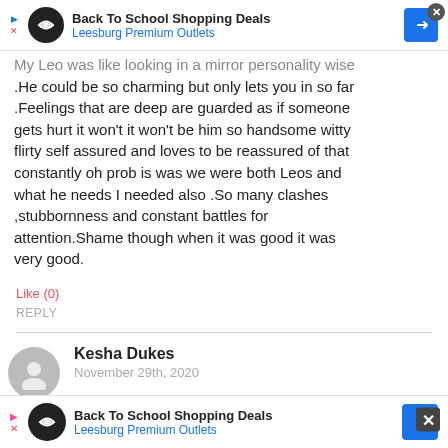[Figure (infographic): Ad banner: Back To School Shopping Deals, Leesburg Premium Outlets]
My Leo was like looking in a mirror personality wise .He could be so charming but only lets you in so far .Feelings that are deep are guarded as if someone gets hurt it won't it won't be him so handsome witty flirty self assured and loves to be reassured of that constantly oh prob is was we were both Leos and what he needs I needed also .So many clashes ,stubbornness and constant battles for attention.Shame though when it was good it was very good.
Like (0)
REPLY
Kesha Dukes
November 29th, 2020
I totally agree with this Information not only is
[Figure (infographic): Ad banner at bottom: Back To School Shopping Deals, Leesburg Premium Outlets]